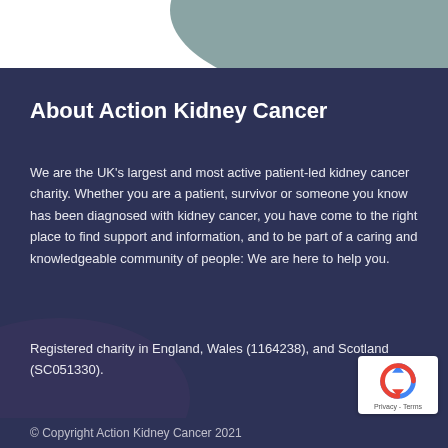About Action Kidney Cancer
We are the UK's largest and most active patient-led kidney cancer charity. Whether you are a patient, survivor or someone you know has been diagnosed with kidney cancer, you have come to the right place to find support and information, and to be part of a caring and knowledgeable community of people: We are here to help you.
Registered charity in England, Wales (1164238), and Scotland (SC051330).
[Figure (logo): reCAPTCHA privacy badge with circular arrow logo and Privacy - Terms text]
© Copyright Action Kidney Cancer 2021